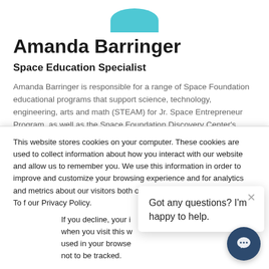[Figure (photo): Circular profile photo of Amanda Barringer, partially visible at top of page]
Amanda Barringer
Space Education Specialist
Amanda Barringer is responsible for a range of Space Foundation educational programs that support science, technology, engineering, arts and math (STEAM) for Jr. Space Entrepreneur Program, as well as the Space Foundation Discovery Center's public programming initiatives for
This website stores cookies on your computer. These cookies are used to collect information about how you interact with our website and allow us to remember you. We use this information in order to improve and customize your browsing experience and for analytics and metrics about our visitors both on this website and other media. To f our Privacy Policy.
If you decline, your i when you visit this w used in your browse not to be tracked.
Got any questions? I'm happy to help.
[Figure (screenshot): Chat widget button with speech bubble icon]